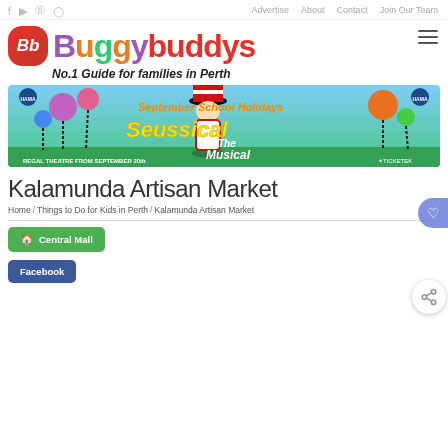f  yt  P  Instagram | Advertise  About  Contact  Join Our Team
[Figure (logo): BuggyBuddys logo with red rounded square icon, colourful text reading BuggyBuddys, tagline: No.1 Guide for families in Perth]
[Figure (illustration): Seussical The Musical – September School Holidays banner advertisement for HAMA at Regal Theatre, with Dr Seuss-themed colourful truffula trees and Cat in the Hat]
Kalamunda Artisan Market
Home / Things to Do for Kids in Perth / Kalamunda Artisan Market   1
Central Mall
Facebook